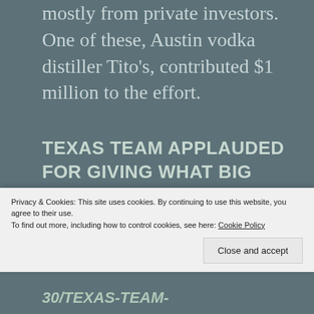mostly from private investors. One of these, Austin vodka distiller Tito's, contributed $1 million to the effort.
TEXAS TEAM APPLAUDED FOR GIVING WHAT BIG PHARMA REFUSES: A PATENT-FREE VACCINE TO
Privacy & Cookies: This site uses cookies. By continuing to use this website, you agree to their use. To find out more, including how to control cookies, see here: Cookie Policy
Close and accept
30/TEXAS-TEAM-